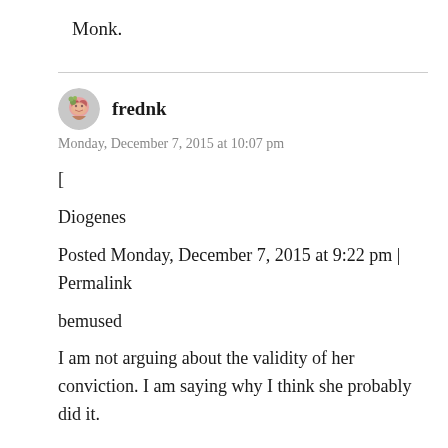Monk.
frednk
Monday, December 7, 2015 at 10:07 pm
[

Diogenes

Posted Monday, December 7, 2015 at 9:22 pm | Permalink

bemused

I am not arguing about the validity of her conviction. I am saying why I think she probably did it.